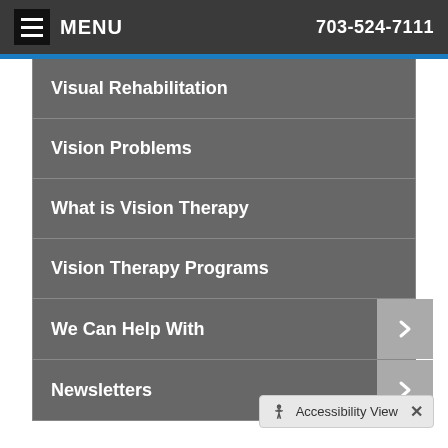MENU  703-524-7111
Visual Rehabilitation
Vision Problems
What is Vision Therapy
Vision Therapy Programs
We Can Help With
Newsletters
Location
Click on the marker to view address